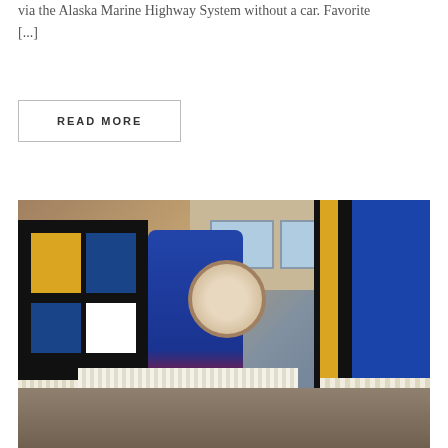via the Alaska Marine Highway System without a car. Favorite [...]
READ MORE
[Figure (photo): Photograph of Indigenous performers in traditional regalia — colorful patterned robes with black, gold, blue designs and white fringe, holding hand drums — performing outdoors in front of a building.]